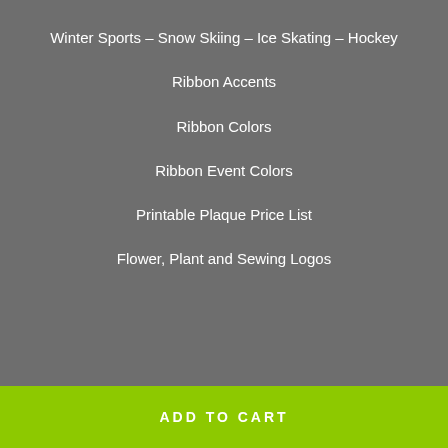Winter Sports – Snow Skiing – Ice Skating – Hockey
Ribbon Accents
Ribbon Colors
Ribbon Event Colors
Printable Plaque Price List
Flower, Plant and Sewing Logos
ADD TO CART